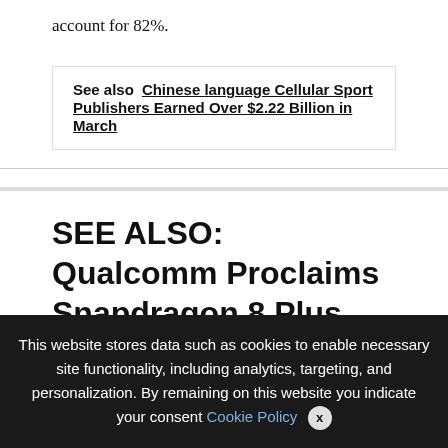account for 82%.
See also  Chinese language Cellular Sport Publishers Earned Over $2.22 Billion in March
SEE ALSO: Qualcomm Proclaims Snapdragon 8 Plus Gen 1 and Snapdragon 7 Gen 1
We use cookies on our website to give you the most relevant experience by remembering your preferences and repeat visits. By clicking “Accept All”, you consent to the use of ALL the controlled consent.
This website stores data such as cookies to enable necessary site functionality, including analytics, targeting, and personalization. By remaining on this website you indicate your consent Cookie Policy  x